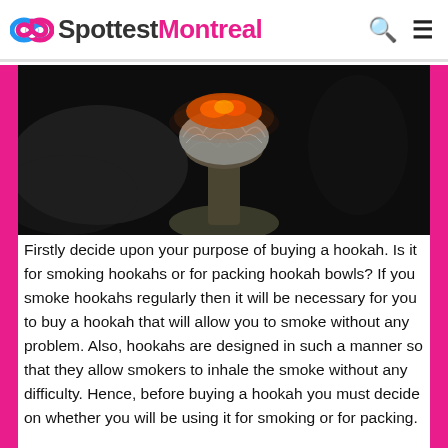SpottestMontreal
[Figure (photo): Close-up dark photograph of a hookah bowl glowing with burning coals on top, wrapped in foil, with smoke visible in the dark background.]
Firstly decide upon your purpose of buying a hookah. Is it for smoking hookahs or for packing hookah bowls? If you smoke hookahs regularly then it will be necessary for you to buy a hookah that will allow you to smoke without any problem. Also, hookahs are designed in such a manner so that they allow smokers to inhale the smoke without any difficulty. Hence, before buying a hookah you must decide on whether you will be using it for smoking or for packing.